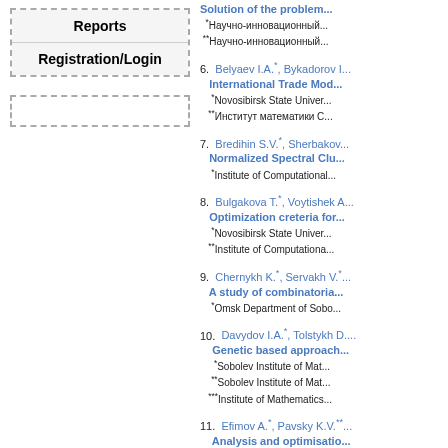Reports
Registration/Login
6. Belyaev I.A.*, Bykadorov I... International Trade Mod... *Novosibirsk State Univer... **Институт математики С...
7. Bredihin S.V.*, Sherbakov... Normalized Spectral Clu... *Institute of Computational...
8. Bulgakova T.*, Voytishek A... Optimization creteria for... *Novosibirsk State Univer... **Institute of Computationa...
9. Chernykh K.*, Servakh V.*... A study of combinatoria... *Omsk Department of Sobo...
10. Davydov I.A.*, Tolstykh D... Genetic based approach... *Sobolev Institute of Mat... **Sobolev Institute of Mat... ***Institute of Mathematics...
11. Efimov A.*, Pavsky K.V.**... Analysis and optimisatio... *ГОУ ВПО 'Сибирский...